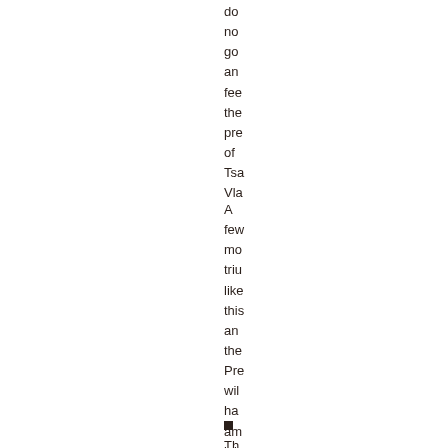do no go an fee the pre of Tsa Vla
A few mo triu like this an the Pre wil ha am leis in 20. for the wri of his thi au
■ Th